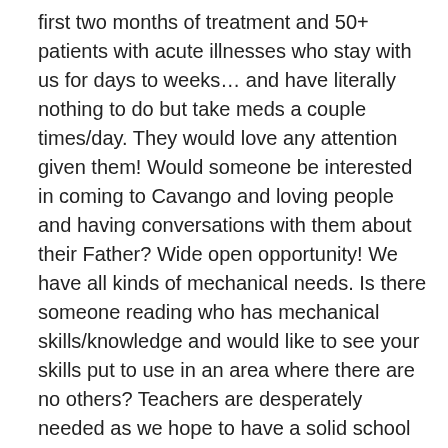first two months of treatment and 50+ patients with acute illnesses who stay with us for days to weeks… and have literally nothing to do but take meds a couple times/day. They would love any attention given them! Would someone be interested in coming to Cavango and loving people and having conversations with them about their Father? Wide open opportunity! We have all kinds of mechanical needs. Is there someone reading who has mechanical skills/knowledge and would like to see your skills put to use in an area where there are no others? Teachers are desperately needed as we hope to have a solid school in four years with four local people trained as teachers and these teachers would benefit greatly from a mentor with experience. Preachers, church planters, disciplers…?